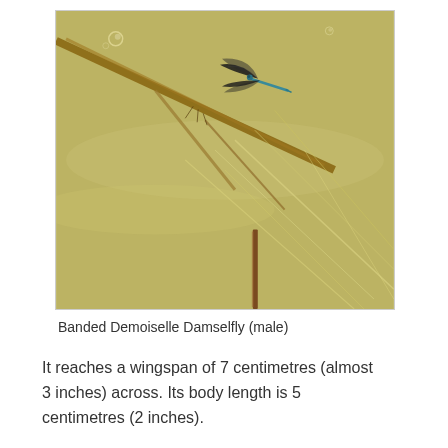[Figure (photo): A photograph of a Banded Demoiselle Damselfly (male) hovering near aquatic plant stems in greenish-brown water. The damselfly is visible in the upper right area of the image with distinctive dark-banded wings and a slender blue-green body. Plant stems and underwater vegetation are visible.]
Banded Demoiselle Damselfly (male)
It reaches a wingspan of 7 centimetres (almost 3 inches) across. Its body length is 5 centimetres (2 inches).